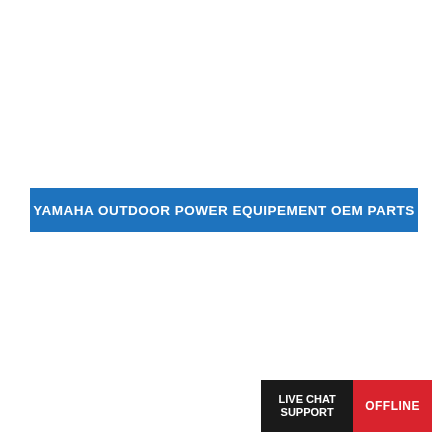YAMAHA OUTDOOR POWER EQUIPEMENT OEM PARTS
[Figure (infographic): Live Chat Support OFFLINE widget in bottom-right corner. Black box with 'LIVE CHAT SUPPORT' text and red box with 'OFFLINE' text.]